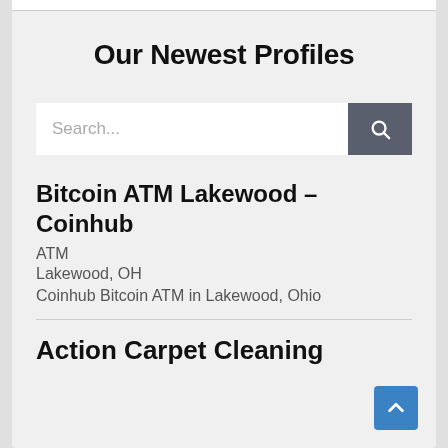Our Newest Profiles
Search...
Bitcoin ATM Lakewood – Coinhub
ATM
Lakewood, OH
Coinhub Bitcoin ATM in Lakewood, Ohio
Action Carpet Cleaning